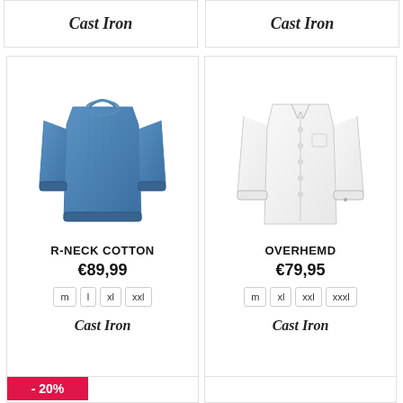Cast Iron
Cast Iron
[Figure (photo): Blue knit crewneck sweater (Cast Iron brand)]
R-NECK COTTON
€89,99
m  l  xl  xxl
Cast Iron
[Figure (photo): White long-sleeve button-up shirt (Cast Iron brand)]
OVERHEMD
€79,95
m  xl  xxl  xxxl
Cast Iron
-20%